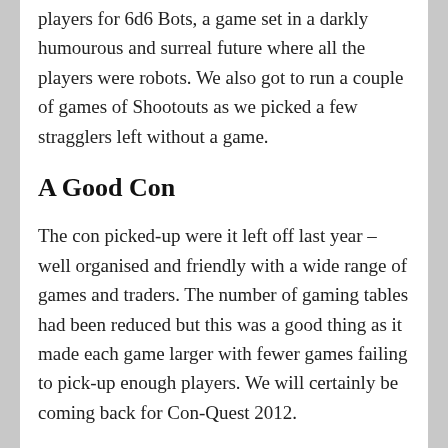players for 6d6 Bots, a game set in a darkly humourous and surreal future where all the players were robots. We also got to run a couple of games of Shootouts as we picked a few stragglers left without a game.
A Good Con
The con picked-up were it left off last year – well organised and friendly with a wide range of games and traders. The number of gaming tables had been reduced but this was a good thing as it made each game larger with fewer games failing to pick-up enough players. We will certainly be coming back for Con-Quest 2012.